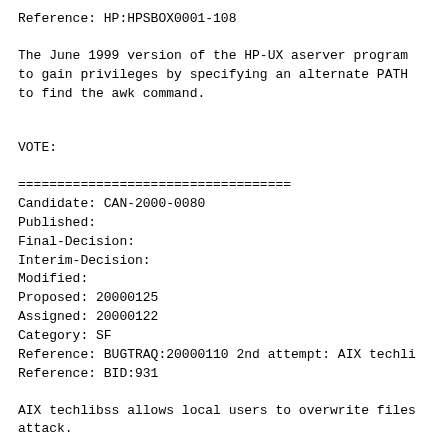Reference: HP:HPSBOX0001-108
The June 1999 version of the HP-UX aserver program to gain privileges by specifying an alternate PATH to find the awk command.
VOTE:
===================================
Candidate: CAN-2000-0080
Published:
Final-Decision:
Interim-Decision:
Modified:
Proposed: 20000125
Assigned: 20000122
Category: SF
Reference: BUGTRAQ:20000110 2nd attempt: AIX techli
Reference: BID:931
AIX techlibss allows local users to overwrite files attack.
VOTE:
===================================
Candidate: CAN-2000-0081
Published:
Final-Decision: